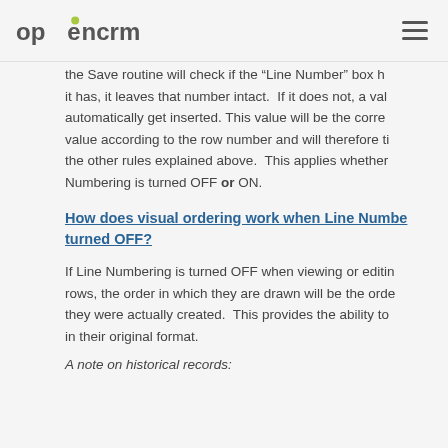OpenCRM logo and navigation menu
the Save routine will check if the 'Line Number' box has a value - if it has, it leaves that number intact. If it does not, a value will automatically get inserted. This value will be the correct value according to the row number and will therefore tie in with the other rules explained above. This applies whether Line Numbering is turned OFF or ON.
How does visual ordering work when Line Numbering is turned OFF?
If Line Numbering is turned OFF when viewing or editing rows, the order in which they are drawn will be the order they were actually created. This provides the ability to view in their original format.
A note on historical records: